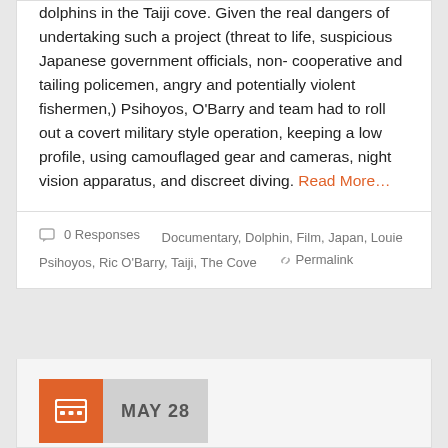dolphins in the Taiji cove. Given the real dangers of undertaking such a project (threat to life, suspicious Japanese government officials, non-cooperative and tailing policemen, angry and potentially violent fishermen,) Psihoyos, O'Barry and team had to roll out a covert military style operation, keeping a low profile, using camouflaged gear and cameras, night vision apparatus, and discreet diving. Read More…
0 Responses   Documentary, Dolphin, Film, Japan, Louie Psihoyos, Ric O'Barry, Taiji, The Cove   Permalink
MAY 28